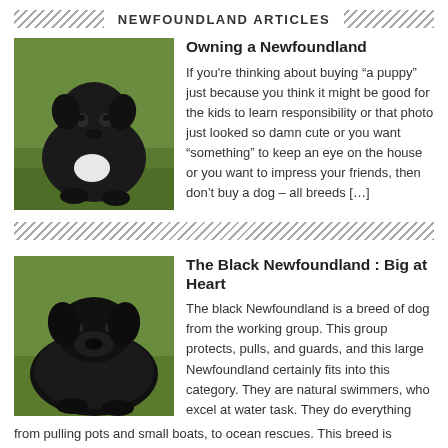NEWFOUNDLAND ARTICLES
Owning a Newfoundland
[Figure (photo): Black Newfoundland puppy sitting on green grass, with a white patch on its chest]
If you're thinking about buying “a puppy” just because you think it might be good for the kids to learn responsibility or that photo just looked so damn cute or you want “something” to keep an eye on the house or you want to impress your friends, then don’t buy a dog – all breeds […]
The Black Newfoundland : Big at Heart
[Figure (photo): Large adult black Newfoundland dog sitting on green grass]
The black Newfoundland is a breed of dog from the working group. This group protects, pulls, and guards, and this large Newfoundland certainly fits into this category. They are natural swimmers, who excel at water task. They do everything from pulling pots and small boats, to ocean rescues. This breed is